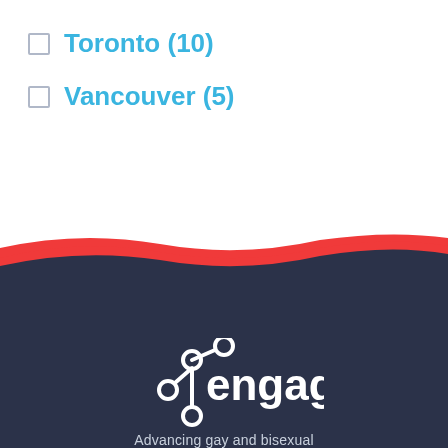Toronto (10)
Vancouver (5)
[Figure (logo): Engage logo with network/molecule icon and text 'engage' with tagline 'Advancing gay and bisexual' on dark navy background with red wave separator]